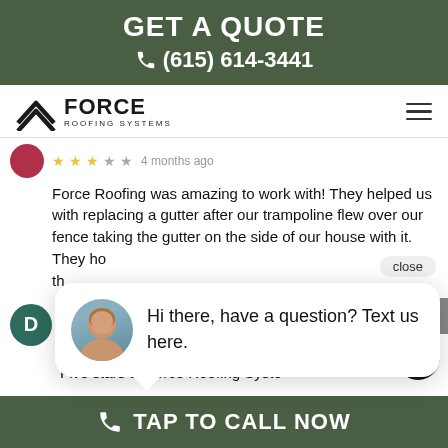GET A QUOTE
📞 (615) 614-3441
[Figure (logo): Force Roofing Systems logo with chevron arrows and company name]
4 months ago
Force Roofing was amazing to work with! They helped us with replacing a gutter after our trampoline flew over our fence taking the gutter on the side of our house with it. They ho th
[Figure (photo): Chat popup with woman avatar: 'Hi there, have a question? Text us here.']
Di
★★★★★ 5 months ago
Five stars to Force Roofing Syste
TAP TO CALL NOW